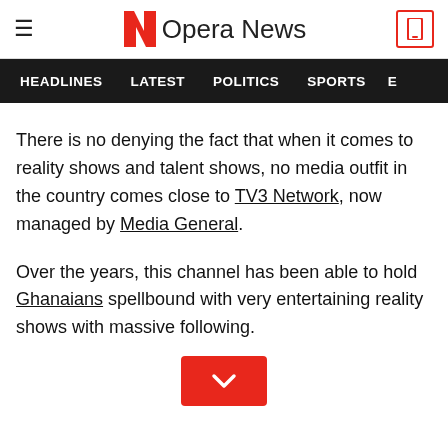Opera News
HEADLINES  LATEST  POLITICS  SPORTS
There is no denying the fact that when it comes to reality shows and talent shows, no media outfit in the country comes close to TV3 Network, now managed by Media General.
Over the years, this channel has been able to hold Ghanaians spellbound with very entertaining reality shows with massive following.